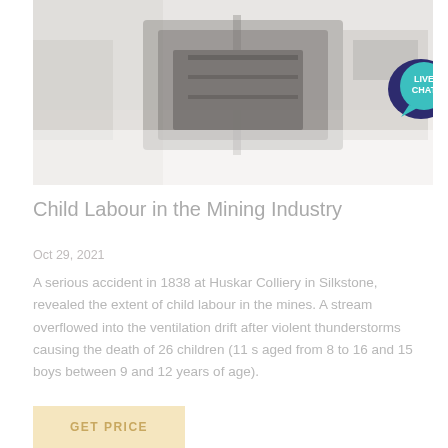[Figure (photo): Industrial mining machinery in a factory/workshop setting, faded/muted colors. A live chat bubble overlay appears in the top-right corner with text LIVE CHAT.]
Child Labour in the Mining Industry
Oct 29, 2021
A serious accident in 1838 at Huskar Colliery in Silkstone, revealed the extent of child labour in the mines. A stream overflowed into the ventilation drift after violent thunderstorms causing the death of 26 children (11 s aged from 8 to 16 and 15 boys between 9 and 12 years of age).
GET PRICE